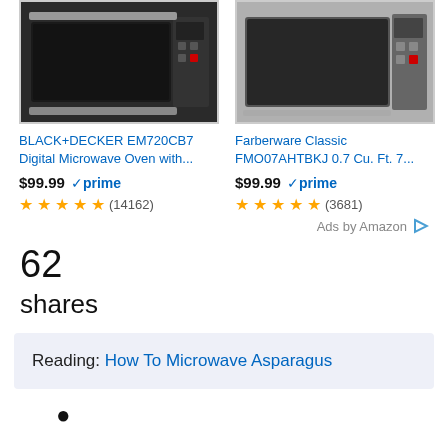[Figure (photo): Two product listings side by side: BLACK+DECKER EM720CB7 Digital Microwave Oven and Farberware Classic FMO07AHTBKJ 0.7 Cu. Ft. 7... Each shows a microwave image, price $99.99 with Prime badge, and star ratings.]
62
shares
Reading: How To Microwave Asparagus
•